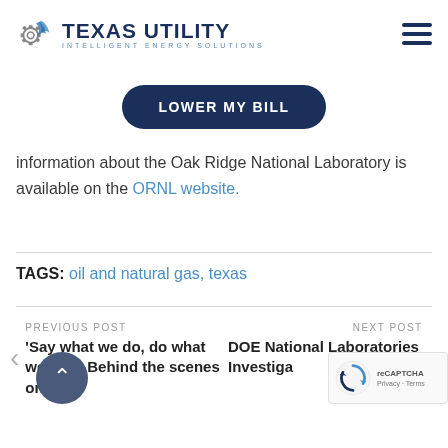TEXAS UTILITY INTELLIGENT ENERGY SOLUTIONS
LOWER MY BILL
information about the Oak Ridge National Laboratory is available on the ORNL website.
TAGS: oil and natural gas, texas
PREVIOUS POST
'Say what we do, do what we say': Behind the scenes on
NEXT POST
DOE National Laboratories Investiga